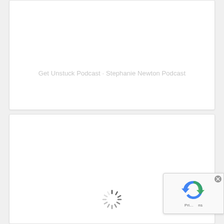Get Unstuck Podcast · Stephanie Newton Podcast
[Figure (screenshot): Loading spinner (activity indicator) in the center-bottom of a white card panel]
[Figure (screenshot): reCAPTCHA badge with blue recycle-arrows logo and 'Privacy - Terms' text, partially overlapping the right edge]